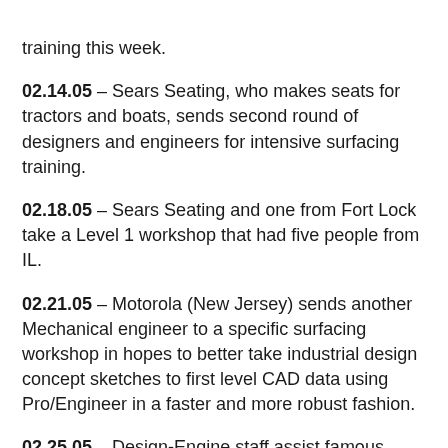training this week.
02.14.05 – Sears Seating, who makes seats for tractors and boats, sends second round of designers and engineers for intensive surfacing training.
02.18.05 – Sears Seating and one from Fort Lock take a Level 1 workshop that had five people from IL.
02.21.05 – Motorola (New Jersey) sends another Mechanical engineer to a specific surfacing workshop in hopes to better take industrial design concept sketches to first level CAD data using Pro/Engineer in a faster and more robust fashion.
02.25.05 – Design-Engine staff assist famous Chicago sculptors: Eric May, Jason Ver Beek, and John Werner with models, documentation using Pro/Engineer, and renderings using Maya. All this was done for the 100 thousand dollar purse the McCormick Foundation Sculpture Competition will